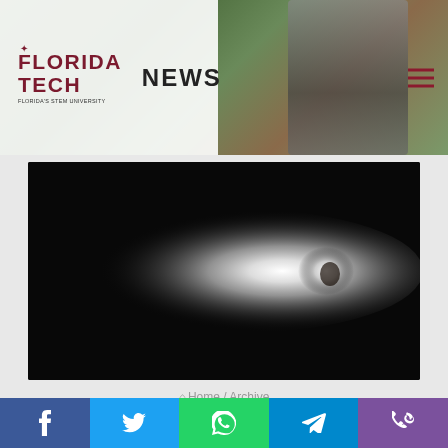Florida Tech News
[Figure (photo): A comet with a bright white glowing tail against a dark black background, the nucleus visible on the right side]
Home / Archive
Comets: Dirty Snowballs